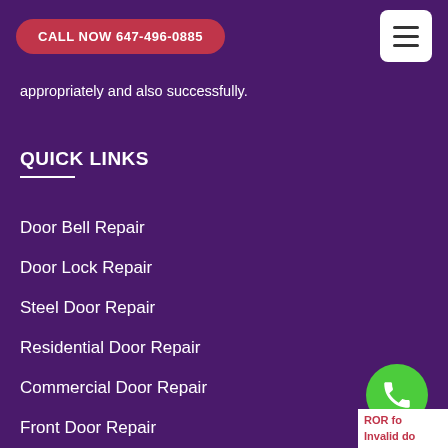CALL NOW 647-496-0885
appropriately and also successfully.
QUICK LINKS
Door Bell Repair
Door Lock Repair
Steel Door Repair
Residential Door Repair
Commercial Door Repair
Front Door Repair
Interior Door Repair